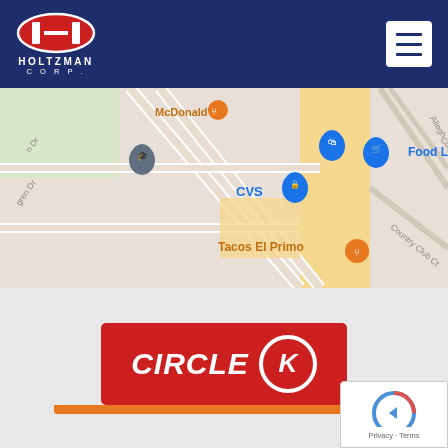[Figure (logo): Holtzman Corp logo with red oval and white H emblem on dark navy blue header]
[Figure (map): Google Maps screenshot showing area with McDonald's, Food Lion, CVS, Tacos El Primo, and street labels including Clay St, Allegh..., Country Club Ct]
[Figure (logo): Circle K logo - red rectangle with CIRCLE K text and circular K emblem, orange bar below]